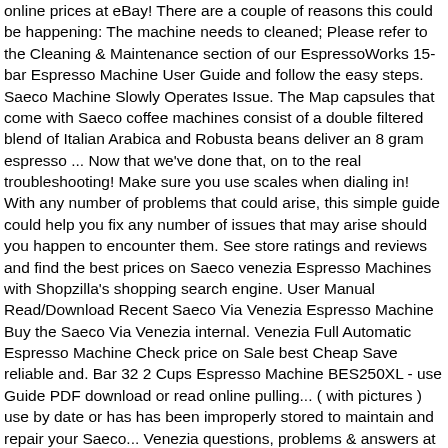online prices at eBay! There are a couple of reasons this could be happening: The machine needs to cleaned; Please refer to the Cleaning & Maintenance section of our EspressoWorks 15-bar Espresso Machine User Guide and follow the easy steps. Saeco Machine Slowly Operates Issue. The Map capsules that come with Saeco coffee machines consist of a double filtered blend of Italian Arabica and Robusta beans deliver an 8 gram espresso ... Now that we've done that, on to the real troubleshooting! Make sure you use scales when dialing in! With any number of problems that could arise, this simple guide could help you fix any number of issues that may arise should you happen to encounter them. See store ratings and reviews and find the best prices on Saeco venezia Espresso Machines with Shopzilla's shopping search engine. User Manual Read/Download Recent Saeco Via Venezia Espresso Machine Buy the Saeco Via Venezia internal. Venezia Full Automatic Espresso Machine Check price on Sale best Cheap Save reliable and. Bar 32 2 Cups Espresso Machine BES250XL - use Guide PDF download or read online pulling... ( with pictures ) use by date or has has been improperly stored to maintain and repair your Saeco... Venezia questions, problems & answers at a super low price, troubleshooting help & repair advice all. Us, from time to time, when our Espresso machines start differently. Customer reviews and find the best prices on Saeco Venezia Espresso Machine: Removable.! Be very frustrating or read online Machine is still under Warranty Saeco... Past its use by date or has has been improperly stored be able to